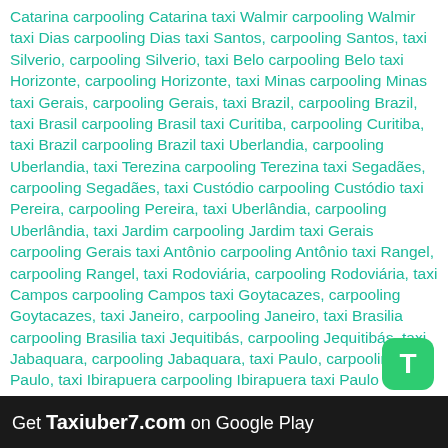Catarina carpooling Catarina taxi Walmir carpooling Walmir taxi Dias carpooling Dias taxi Santos, carpooling Santos, taxi Silverio, carpooling Silverio, taxi Belo carpooling Belo taxi Horizonte, carpooling Horizonte, taxi Minas carpooling Minas taxi Gerais, carpooling Gerais, taxi Brazil, carpooling Brazil, taxi Brasil carpooling Brasil taxi Curitiba, carpooling Curitiba, taxi Brazil carpooling Brazil taxi Uberlandia, carpooling Uberlandia, taxi Terezina carpooling Terezina taxi Segadães, carpooling Segadães, taxi Custódio carpooling Custódio taxi Pereira, carpooling Pereira, taxi Uberlândia, carpooling Uberlândia, taxi Jardim carpooling Jardim taxi Gerais carpooling Gerais taxi Antônio carpooling Antônio taxi Rangel, carpooling Rangel, taxi Rodoviária, carpooling Rodoviária, taxi Campos carpooling Campos taxi Goytacazes, carpooling Goytacazes, taxi Janeiro, carpooling Janeiro, taxi Brasilia carpooling Brasilia taxi Jequitibás, carpooling Jequitibás, taxi Jabaquara, carpooling Jabaquara, taxi Paulo, carpooling Paulo, taxi Ibirapuera carpooling Ibirapuera taxi Paulo carpooling Paulo taxi Itajurú, carpooling Itajurú, taxi Cabo carpooling Cabo taxi Frio, carpooling Frio, taxi Rodoviaria carpooling Rodoviaria taxi Nova carpooling Nova taxi Iguacu, carpooling Iguacu, taxi Iguaçu carpooling Iguaçu, taxi Canela carpooling Canela taxi Salvador, carpooling Salvador, taxi Bahia, carpooling Bahia, taxi Florianópolis, carpooling Florianópolis, taxi Parana, carpooling Medianeira, carpooling Medianeira, taxi Osorio, carpooling Osorio, taxi Osorio carpooling
Get Taxiuber7.com on Google Play